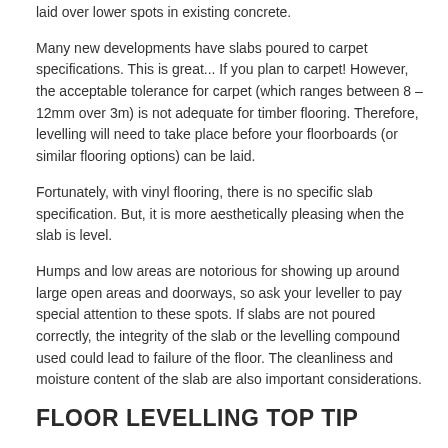laid over lower spots in existing concrete.
Many new developments have slabs poured to carpet specifications. This is great... If you plan to carpet! However, the acceptable tolerance for carpet (which ranges between 8 – 12mm over 3m) is not adequate for timber flooring. Therefore, levelling will need to take place before your floorboards (or similar flooring options) can be laid.
Fortunately, with vinyl flooring, there is no specific slab specification. But, it is more aesthetically pleasing when the slab is level.
Humps and low areas are notorious for showing up around large open areas and doorways, so ask your leveller to pay special attention to these spots. If slabs are not poured correctly, the integrity of the slab or the levelling compound used could lead to failure of the floor. The cleanliness and moisture content of the slab are also important considerations.
FLOOR LEVELLING TOP TIP